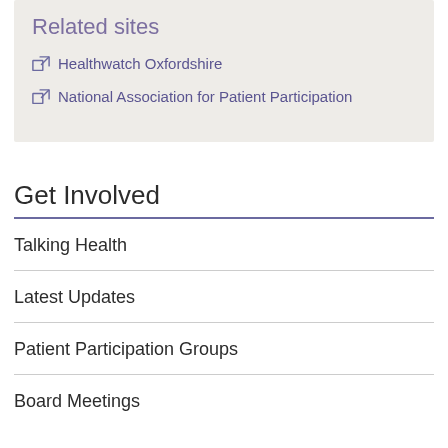Related sites
Healthwatch Oxfordshire
National Association for Patient Participation
Get Involved
Talking Health
Latest Updates
Patient Participation Groups
Board Meetings